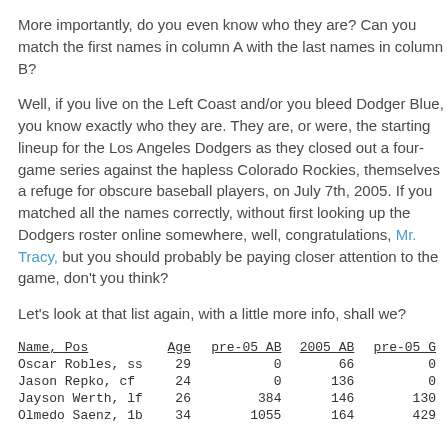More importantly, do you even know who they are? Can you match the first names in column A with the last names in column B?
Well, if you live on the Left Coast and/or you bleed Dodger Blue, you know exactly who they are. They are, or were, the starting lineup for the Los Angeles Dodgers as they closed out a four-game series against the hapless Colorado Rockies, themselves a refuge for obscure baseball players, on July 7th, 2005. If you matched all the names correctly, without first looking up the Dodgers roster online somewhere, well, congratulations, Mr. Tracy, but you should probably be paying closer attention to the game, don't you think?
Let's look at that list again, with a little more info, shall we?
| Name, Pos | Age | pre-05 AB | 2005 AB | pre-05 G |
| --- | --- | --- | --- | --- |
| Oscar Robles, ss | 29 | 0 | 66 | 0 |
| Jason Repko, cf | 24 | 0 | 136 | 0 |
| Jayson Werth, lf | 26 | 384 | 146 | 130 |
| Olmedo Saenz, 1b | 34 | 1055 | 164 | 429 |